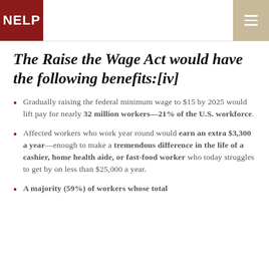NELP
The Raise the Wage Act would have the following benefits:[iv]
Gradually raising the federal minimum wage to $15 by 2025 would lift pay for nearly 32 million workers—21% of the U.S. workforce.
Affected workers who work year round would earn an extra $3,300 a year—enough to make a tremendous difference in the life of a cashier, home health aide, or fast-food worker who today struggles to get by on less than $25,000 a year.
A majority (59%) of workers whose total